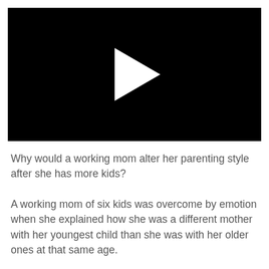[Figure (screenshot): Black video player thumbnail with a white play button triangle in the center]
Why would a working mom alter her parenting style after she has more kids?
A working mom of six kids was overcome by emotion when she explained how she was a different mother with her youngest child than she was with her older ones at that same age.